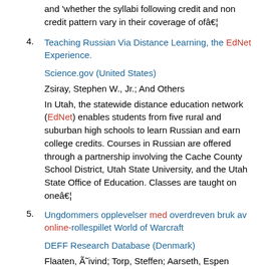and 'whether the syllabi following credit and non credit pattern vary in their coverage of ofâ€¦
4. Teaching Russian Via Distance Learning, the EdNet Experience.
Science.gov (United States)
Zsiray, Stephen W., Jr.; And Others
In Utah, the statewide distance education network (EdNet) enables students from five rural and suburban high schools to learn Russian and earn college credits. Courses in Russian are offered through a partnership involving the Cache County School District, Utah State University, and the Utah State Office of Education. Classes are taught on oneâ€¦
5. Ungdommers opplevelser med overdreven bruk av online-rollespillet World of Warcraft
DEFF Research Database (Denmark)
Flaaten, Ã˜ivind; Torp, Steffen; Aarseth, Espen